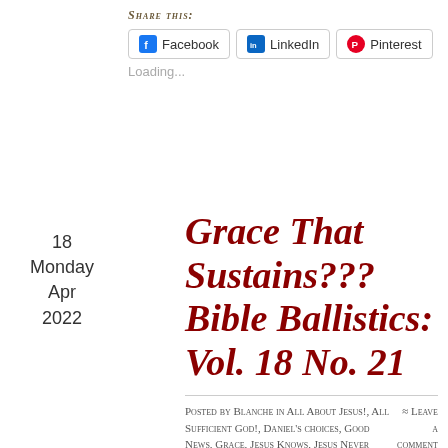Share this:
[Figure (screenshot): Social share buttons: Facebook, LinkedIn, Pinterest]
Loading...
18
Monday
Apr
2022
Grace That Sustains??? Bible Ballistics: Vol. 18 No. 21
Posted by Blanche in All About Jesus!, All Sufficient God!, Daniel's choices, Good News, Grace, Jesus Knows, Jesus Never Fails, Jesus Saves!, Repentance,
≈ Leave a comment